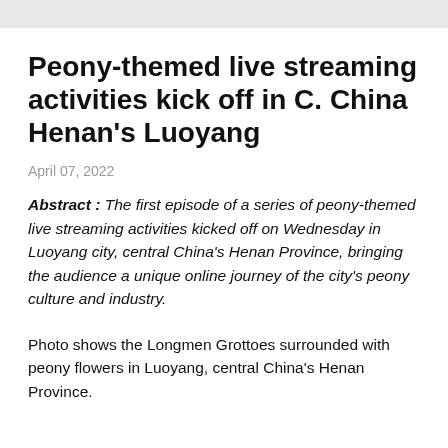Peony-themed live streaming activities kick off in C. China Henan's Luoyang
April 07, 2022
Abstract : The first episode of a series of peony-themed live streaming activities kicked off on Wednesday in Luoyang city, central China's Henan Province, bringing the audience a unique online journey of the city's peony culture and industry.
Photo shows the Longmen Grottoes surrounded with peony flowers in Luoyang, central China's Henan Province.